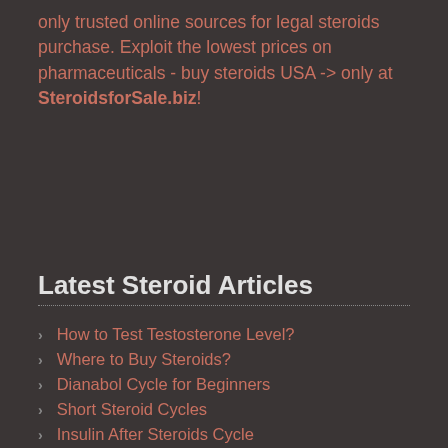only trusted online sources for legal steroids purchase. Exploit the lowest prices on pharmaceuticals - buy steroids USA -> only at SteroidsforSale.biz!
Latest Steroid Articles
How to Test Testosterone Level?
Where to Buy Steroids?
Dianabol Cycle for Beginners
Short Steroid Cycles
Insulin After Steroids Cycle
Peptides In Bodybuilding
Prohormones
Dan Duchaine: THE Steroid Guru
Hormone Replacement Therapy
Making Fitness Fun